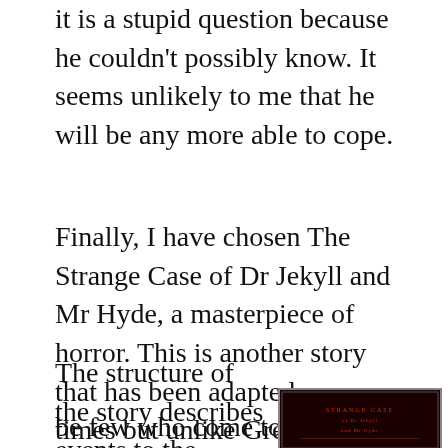it is a stupid question because he couldn't possibly know. It seems unlikely to me that he will be any more able to cope.
Finally, I have chosen The Strange Case of Dr Jekyll and Mr Hyde, a masterpiece of horror. This is another story that has been adapted many times but unlike Great Expectations, I do not think that any of the films really live up to the horror of the original story.
The structure of the story describes events to the reader, suggesting and hinting at the horrors that have occurred and although there can
be few who come to this book unaware of the relationship
[Figure (photo): Book cover image with dark red/black background, likely The Strange Case of Dr Jekyll and Mr Hyde]